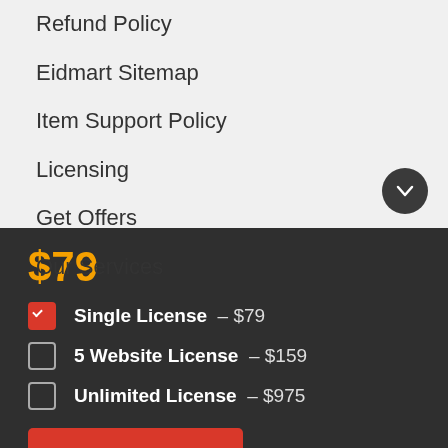Refund Policy
Eidmart Sitemap
Item Support Policy
Licensing
Get Offers
Our Services
$79
Single License – $79
5 Website License – $159
Unlimited License – $975
Purchase